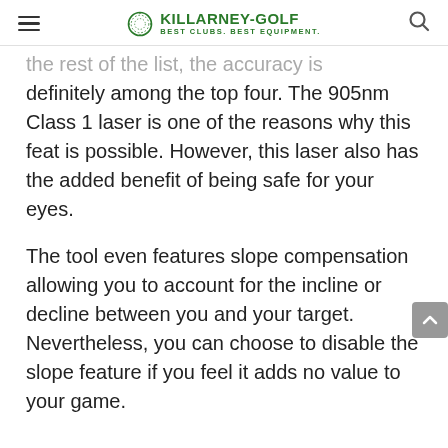KILLARNEY-GOLF BEST CLUBS. BEST EQUIPMENT.
the rest of the list, the accuracy is definitely among the top four. The 905nm Class 1 laser is one of the reasons why this feat is possible. However, this laser also has the added benefit of being safe for your eyes.
The tool even features slope compensation allowing you to account for the incline or decline between you and your target. Nevertheless, you can choose to disable the slope feature if you feel it adds no value to your game.